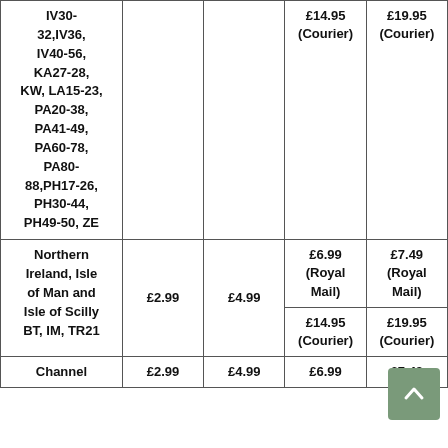| Location | Standard | Express | Large (Under 2kg) | Large (Over 2kg) |
| --- | --- | --- | --- | --- |
| IV30-32,IV36,IV40-56,KA27-28,KW,LA15-23,PA20-38,PA41-49,PA60-78,PA80-88,PH17-26,PH30-44,PH49-50,ZE |  |  | £14.95 (Courier) | £19.95 (Courier) |
| Northern Ireland, Isle of Man and Isle of Scilly BT, IM, TR21 | £2.99 | £4.99 | £6.99 (Royal Mail) / £14.95 (Courier) | £7.49 (Royal Mail) / £19.95 (Courier) |
| Channel | £2.99 | £4.99 | £6.99 | £7.49 |